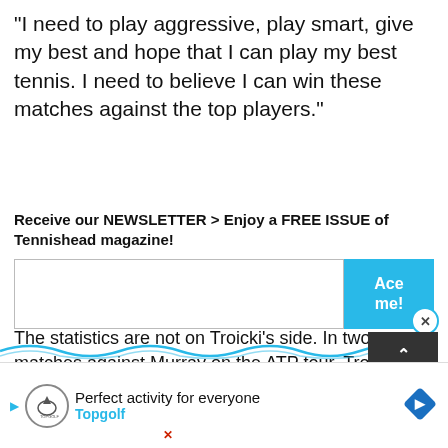“I need to play aggressive, play smart, give my best and hope that I can play my best tennis. I need to believe I can win these matches against the top players.”
Receive our NEWSLETTER > Enjoy a FREE ISSUE of Tennishead magazine!
The statistics are not on Troicki’s side. In two matches against Murray on the ATP tour, Troicki has failed to win a set, winning just one game in their last
[Figure (infographic): Advertisement banner for Topgolf with logo, text 'Perfect activity for everyone', 'Topgolf', play button arrow, close button, navigation arrow icon, and a TOP button with up arrow.]